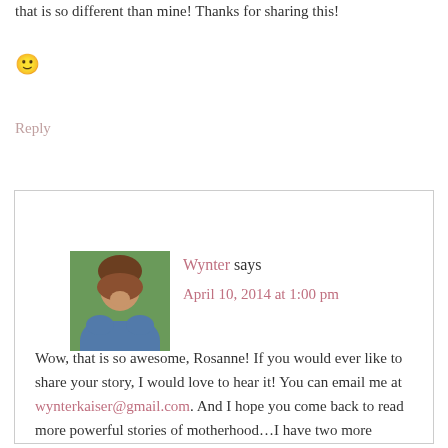that is so different than mine! Thanks for sharing this!
🙂
Reply
Wynter says
April 10, 2014 at 1:00 pm
Wow, that is so awesome, Rosanne! If you would ever like to share your story, I would love to hear it! You can email me at wynterkaiser@gmail.com. And I hope you come back to read more powerful stories of motherhood…I have two more adoption stories lined up for the coming weeks!
Reply